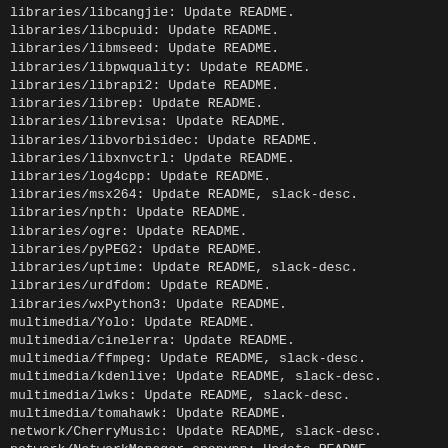libraries/libcangjie: Update README.
libraries/libcpuid: Update README.
libraries/libmseed: Update README.
libraries/libpwquality: Update README.
libraries/librapi2: Update README.
libraries/librep: Update README.
libraries/librevisa: Update README.
libraries/libvorbisidec: Update README.
libraries/libxnvctrl: Update README.
libraries/log4cpp: Update README.
libraries/msx264: Update README, slack-desc.
libraries/npth: Update README.
libraries/ogre: Update README.
libraries/pyPEG2: Update README.
libraries/uptime: Update README, slack-desc.
libraries/urdfdom: Update README.
libraries/wxPython3: Update README.
multimedia/Yolo: Update README.
multimedia/cinelerra: Update README.
multimedia/ffmpeg: Update README, slack-desc.
multimedia/kdenlive: Update README, slack-desc.
multimedia/lwks: Update README, slack-desc.
multimedia/tomahawk: Update README.
network/CherryMusic: Update README, slack-desc.
network/NetworkManager-openvpn: Update README.
network/Pafy: Update README.
network/PaleMoon: Update README.
network/cmst: Update README.
network/connman: Update README, slack-desc.
network/dovecot: Update README, slack-desc.
network/filezilla: Update README, slack-desc.